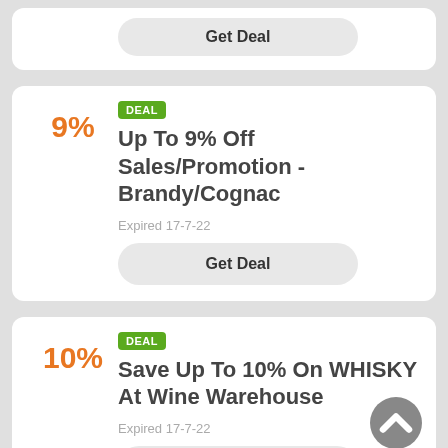[Figure (screenshot): Partial top card with Get Deal button visible at top of page]
DEAL
Up To 9% Off Sales/Promotion - Brandy/Cognac
9%
Expired 17-7-22
Get Deal
DEAL
Save Up To 10% On WHISKY At Wine Warehouse
10%
Expired 17-7-22
Get Deal